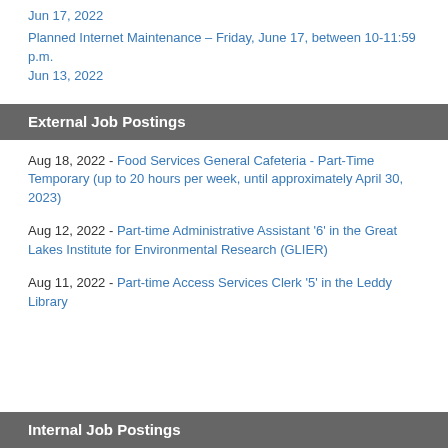Jun 17, 2022
Planned Internet Maintenance – Friday, June 17, between 10-11:59 p.m.
Jun 13, 2022
External Job Postings
Aug 18, 2022 - Food Services General Cafeteria - Part-Time Temporary (up to 20 hours per week, until approximately April 30, 2023)
Aug 12, 2022 - Part-time Administrative Assistant '6' in the Great Lakes Institute for Environmental Research (GLIER)
Aug 11, 2022 - Part-time Access Services Clerk '5' in the Leddy Library
Internal Job Postings